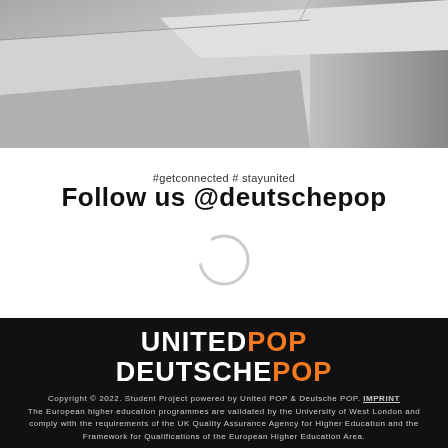[Figure (photo): Gray architectural concrete blocks/slabs photographed from above at an angle, monochrome]
#getconnected # stayunited
Follow us @deutschepop
[Figure (other): Loading spinner / circular progress indicator]
UNITED POP DEUTSCHE POP Copyright © 2022. Student Project powered by United POP & Deutsche POP. IMPRINT The European higher education programmes are validated by the University of West London and comply with the requirements of the UK Quality Assurance Agency for Higher Education and the Framework for Qualifications of the European Higher Education Area.